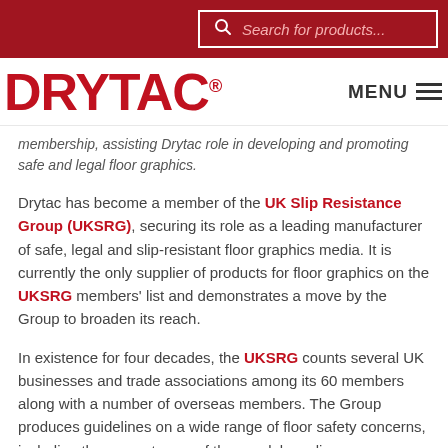Search for products...
[Figure (logo): DRYTAC logo in red with registered trademark symbol]
membership, assisting Drytac role in developing and promoting safe and legal floor graphics.
Drytac has become a member of the UK Slip Resistance Group (UKSRG), securing its role as a leading manufacturer of safe, legal and slip-resistant floor graphics media. It is currently the only supplier of products for floor graphics on the UKSRG members' list and demonstrates a move by the Group to broaden its reach.
In existence for four decades, the UKSRG counts several UK businesses and trade associations among its 60 members along with a number of overseas members. The Group produces guidelines on a wide range of floor safety concerns, including the accurate use of the pendulum slip